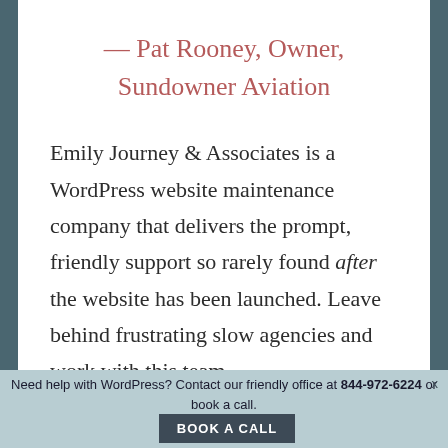— Pat Rooney, Owner, Sundowner Aviation
Emily Journey & Associates is a WordPress website maintenance company that delivers the prompt, friendly support so rarely found after the website has been launched. Leave behind frustrating slow agencies and work with this team
Need help with WordPress? Contact our friendly office at 844-972-6224 or book a call. BOOK A CALL